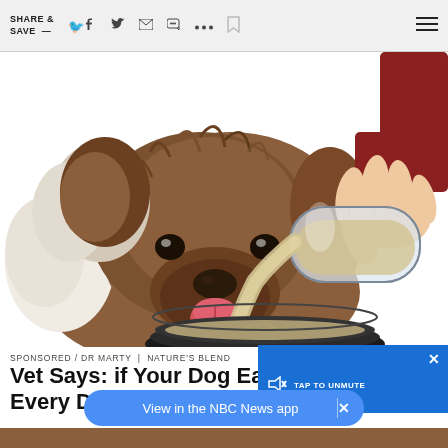SHARE & SAVE —  [social icons: facebook, twitter, email, message, more, bookmark, menu]
[Figure (illustration): Illustration of a fluffy brown dog with tongue out, a hand pouring liquid from a glass bottle into a metal bowl]
SPONSORED / DR MARTY | NATURE'S BLEND
Vet Says: if Your Dog Eats Dry [Food] Every Day
[Figure (screenshot): Blue video overlay panel with speaker/mute icon and 'TAP TO UNMUTE' text, with X close button]
View in the NBC News app
[Figure (photo): Brown dog bottom strip at the very bottom of the page]